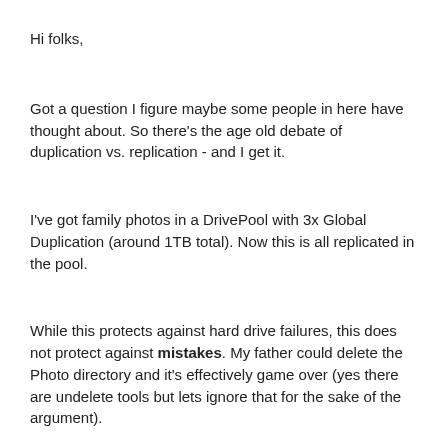Hi folks,
Got a question I figure maybe some people in here have thought about. So there's the age old debate of duplication vs. replication - and I get it.
I've got family photos in a DrivePool with 3x Global Duplication (around 1TB total). Now this is all replicated in the pool.
While this protects against hard drive failures, this does not protect against mistakes. My father could delete the Photo directory and it's effectively game over (yes there are undelete tools but lets ignore that for the sake of the argument).
What I am wondering is if people have any tried, and tested